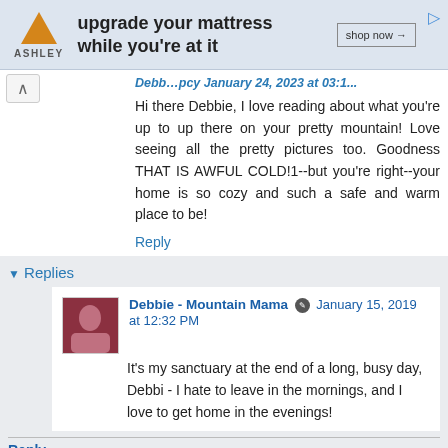[Figure (other): Ashley furniture advertisement banner with triangle logo, text 'upgrade your mattress while you're at it', and 'shop now' button]
Hi there Debbie, I love reading about what you're up to up there on your pretty mountain! Love seeing all the pretty pictures too. Goodness THAT IS AWFUL COLD!1--but you're right--your home is so cozy and such a safe and warm place to be!
Reply
Replies
Debbie - Mountain Mama January 15, 2019 at 12:32 PM
It's my sanctuary at the end of a long, busy day, Debbi - I hate to leave in the mornings, and I love to get home in the evenings!
Reply